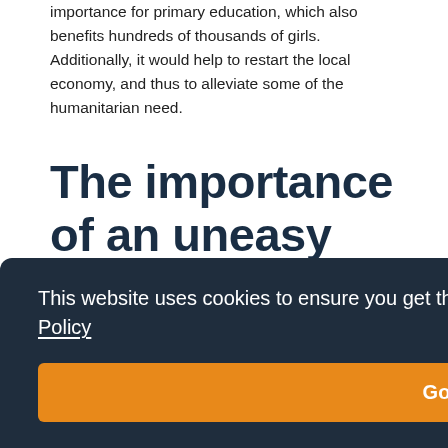importance for primary education, which also benefits hundreds of thousands of girls. Additionally, it would help to restart the local economy, and thus to alleviate some of the humanitarian need.
The importance of an uneasy conversation with the Taliban
…iban …ity with …other …y of …rder to take well-informed decisions, therefore, it is very important, as the
This website uses cookies to ensure you get the best experience on our website. Privacy Policy
Got it!